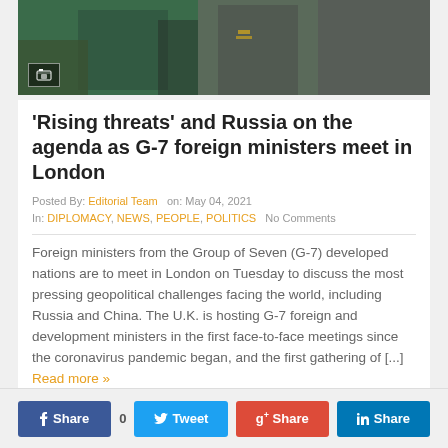[Figure (photo): Photo of people in military/formal attire at an outdoor event, partially visible at top of page]
‘Rising threats’ and Russia on the agenda as G-7 foreign ministers meet in London
Posted By: Editorial Team  on: May 04, 2021
In: DIPLOMACY, NEWS, PEOPLE, POLITICS  No Comments
Foreign ministers from the Group of Seven (G-7) developed nations are to meet in London on Tuesday to discuss the most pressing geopolitical challenges facing the world, including Russia and China. The U.K. is hosting G-7 foreign and development ministers in the first face-to-face meetings since the coronavirus pandemic began, and the first gathering of [...] Read more »